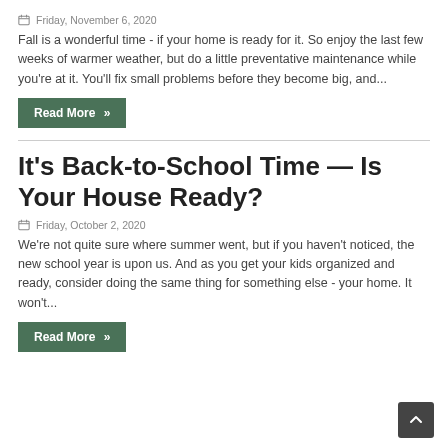Friday, November 6, 2020
Fall is a wonderful time - if your home is ready for it. So enjoy the last few weeks of warmer weather, but do a little preventative maintenance while you're at it. You'll fix small problems before they become big, and...
Read More »
It's Back-to-School Time — Is Your House Ready?
Friday, October 2, 2020
We're not quite sure where summer went, but if you haven't noticed, the new school year is upon us. And as you get your kids organized and ready, consider doing the same thing for something else - your home. It won't...
Read More »